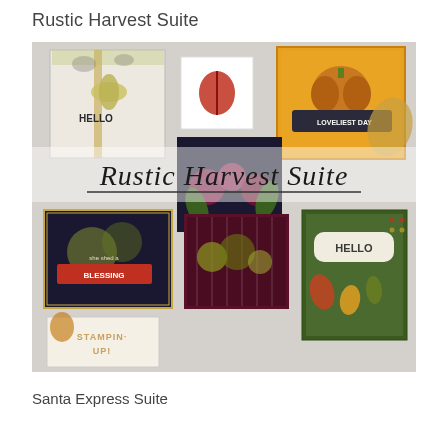Rustic Harvest Suite
[Figure (photo): Collage photo of Rustic Harvest Suite craft card products from Stampin' Up!, showing multiple handmade cards with autumn/harvest themes including pumpkins, flowers, leaves, and decorative elements. Cards include messages like 'HELLO', 'BLESSING', 'LOVELIEST DAY'. A cursive script overlay reads 'Rustic Harvest Suite' with an underline across the middle of the image.]
Santa Express Suite